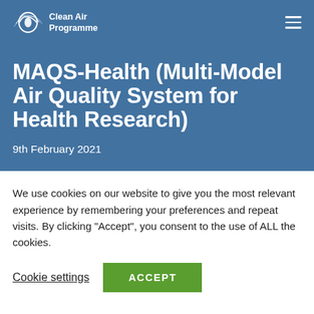Clean Air Programme
MAQS-Health (Multi-Model Air Quality System for Health Research)
9th February 2021
We use cookies on our website to give you the most relevant experience by remembering your preferences and repeat visits. By clicking “Accept”, you consent to the use of ALL the cookies.
Cookie settings
ACCEPT